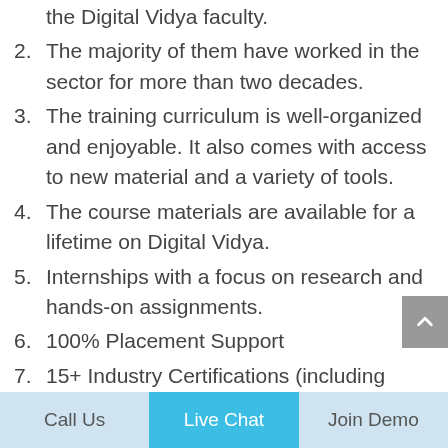the Digital Vidya faculty.
2. The majority of them have worked in the sector for more than two decades.
3. The training curriculum is well-organized and enjoyable. It also comes with access to new material and a variety of tools.
4. The course materials are available for a lifetime on Digital Vidya.
5. Internships with a focus on research and hands-on assignments.
6. 100% Placement Support
7. 15+ Industry Certifications (including
Call Us   Live Chat   Join Demo